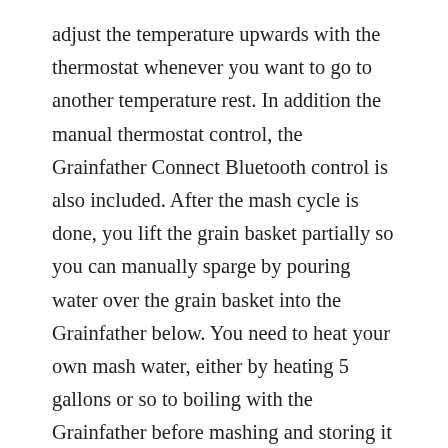adjust the temperature upwards with the thermostat whenever you want to go to another temperature rest. In addition the manual thermostat control, the Grainfather Connect Bluetooth control is also included. After the mash cycle is done, you lift the grain basket partially so you can manually sparge by pouring water over the grain basket into the Grainfather below. You need to heat your own mash water, either by heating 5 gallons or so to boiling with the Grainfather before mashing and storing it in a stainless boiling pot, or heating when it is time to sparge with a separate brew pot on a stove. What we did was heat our sparge water in the Grainfather by getting it to boil in the Grain Father, then transferrring to a stainless boiling pot, and putting a lid on the pot. When the boil is over, you insert the included counter flow wort chiller to chill the wort